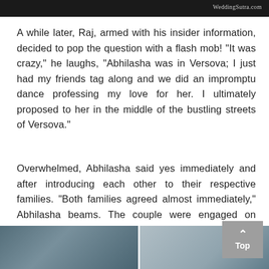WeddingSutra.com
A while later, Raj, armed with his insider information, decided to pop the question with a flash mob! “It was crazy,” he laughs, “Abhilasha was in Versova; I just had my friends tag along and we did an impromptu dance professing my love for her. I ultimately proposed to her in the middle of the bustling streets of Versova.”
Overwhelmed, Abhilasha said yes immediately and after introducing each other to their respective families. “Both families agreed almost immediately,” Abhilasha beams. The couple were engaged on Valentine’s Day this year.
[Figure (photo): Bottom strip showing partial photos of a couple outdoors]